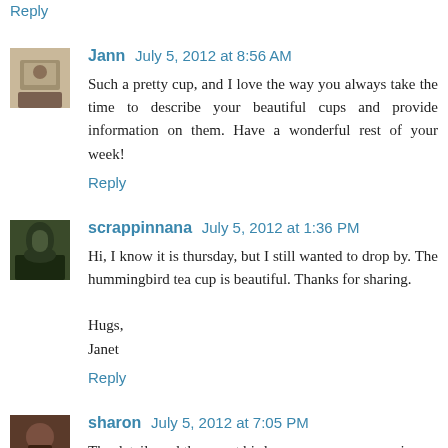Reply
Jann  July 5, 2012 at 8:56 AM
Such a pretty cup, and I love the way you always take the time to describe your beautiful cups and provide information on them. Have a wonderful rest of your week!
Reply
scrappinnana  July 5, 2012 at 1:36 PM
Hi, I know it is thursday, but I still wanted to drop by. The hummingbird tea cup is beautiful. Thanks for sharing.

Hugs,
Janet
Reply
sharon  July 5, 2012 at 7:05 PM
The details and the sweet bird on your cup are amazing.